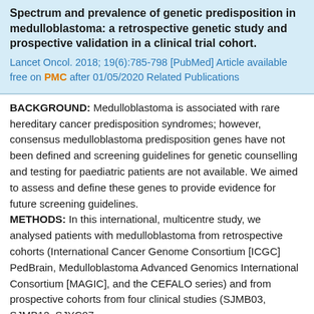Spectrum and prevalence of genetic predisposition in medulloblastoma: a retrospective genetic study and prospective validation in a clinical trial cohort.
Lancet Oncol. 2018; 19(6):785-798 [PubMed] Article available free on PMC after 01/05/2020 Related Publications
BACKGROUND: Medulloblastoma is associated with rare hereditary cancer predisposition syndromes; however, consensus medulloblastoma predisposition genes have not been defined and screening guidelines for genetic counselling and testing for paediatric patients are not available. We aimed to assess and define these genes to provide evidence for future screening guidelines. METHODS: In this international, multicentre study, we analysed patients with medulloblastoma from retrospective cohorts (International Cancer Genome Consortium [ICGC] PedBrain, Medulloblastoma Advanced Genomics International Consortium [MAGIC], and the CEFALO series) and from prospective cohorts from four clinical studies (SJMB03, SJMB12, SJYC07,